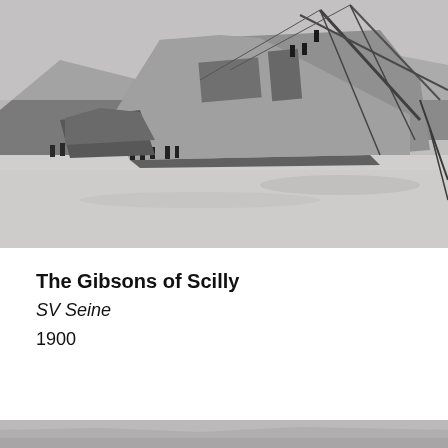[Figure (photo): Black and white historical photograph of a shipwreck on a beach. A large vessel is tilted at a severe angle, nearly sideways, on a flat sandy beach. Groups of people can be seen around the wreck. Hills and a cloudy sky are visible in the background.]
The Gibsons of Scilly
SV Seine
1900
[Figure (photo): Partial view of another black and white historical photograph, cropped at the bottom of the page.]